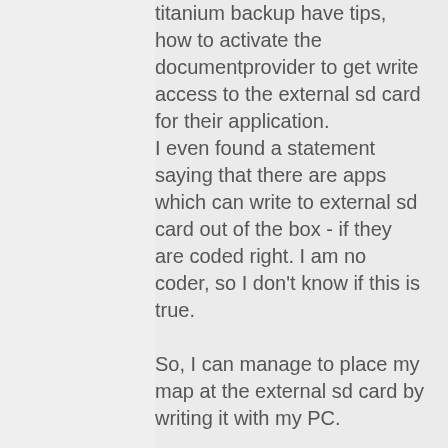titanium backup have tips, how to activate the documentprovider to get write access to the external sd card for their application.
I even found a statement saying that there are apps which can write to external sd card out of the box - if they are coded right. I am no coder, so I don't know if this is true.

So, I can manage to place my map at the external sd card by writing it with my PC.

My question is, can I configure a different path for bookmarks? My wish is to get a Navit version with write